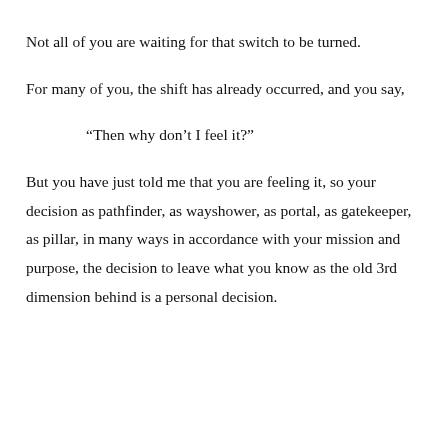Not all of you are waiting for that switch to be turned.
For many of you, the shift has already occurred, and you say,
“Then why don’t I feel it?”
But you have just told me that you are feeling it, so your decision as pathfinder, as wayshower, as portal, as gatekeeper, as pillar, in many ways in accordance with your mission and purpose, the decision to leave what you know as the old 3rd dimension behind is a personal decision.